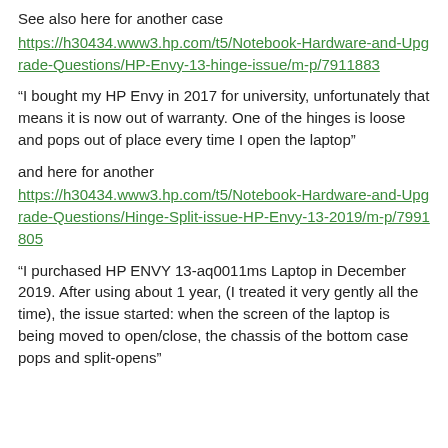See also here for another case
https://h30434.www3.hp.com/t5/Notebook-Hardware-and-Upgrade-Questions/HP-Envy-13-hinge-issue/m-p/7911883
“I bought my HP Envy in 2017 for university, unfortunately that means it is now out of warranty. One of the hinges is loose and pops out of place every time I open the laptop”
and here for another
https://h30434.www3.hp.com/t5/Notebook-Hardware-and-Upgrade-Questions/Hinge-Split-issue-HP-Envy-13-2019/m-p/7991805
“I purchased HP ENVY 13-aq0011ms Laptop in December 2019. After using about 1 year, (I treated it very gently all the time), the issue started: when the screen of the laptop is being moved to open/close, the chassis of the bottom case pops and split-opens”